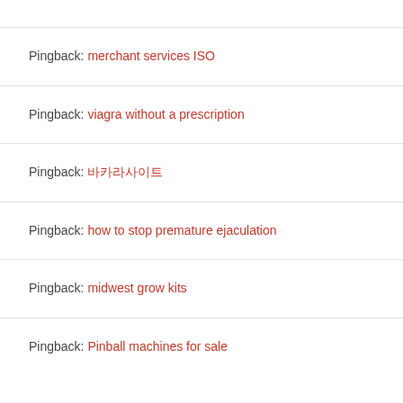Pingback: merchant services ISO
Pingback: viagra without a prescription
Pingback: 바카라사이트
Pingback: how to stop premature ejaculation
Pingback: midwest grow kits
Pingback: Pinball machines for sale